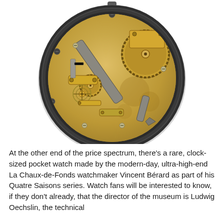[Figure (photo): A photograph of the open back of an antique pocket watch, revealing its brass mechanical movement with gears, levers, and screws, set in a dark metal case, photographed against a white background.]
At the other end of the price spectrum, there's a rare, clock-sized pocket watch made by the modern-day, ultra-high-end La Chaux-de-Fonds watchmaker Vincent Bérard as part of his Quatre Saisons series. Watch fans will be interested to know, if they don't already, that the director of the museum is Ludwig Oechslin, the technical